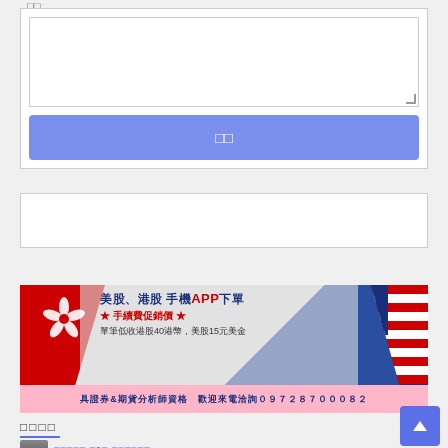[Figure (screenshot): Web form with textarea and submit button (blue). Textarea is empty, submit button shows Chinese characters.]
[Figure (screenshot): Empty white bordered box, likely a sidebar widget placeholder.]
[Figure (infographic): Advertisement banner for stock trading app. Shows Hong Kong and US flags, text in Chinese: 美股、港股 手機APP下單 ★手續費促銷價★ 單筆低收港股40港幣，美股15元美金. Bottom pink bar: 具證券&期貨分析師資格　歡迎來電洽詢0972870082]
□□□□
□□□□□□ □3□ □□□□□□